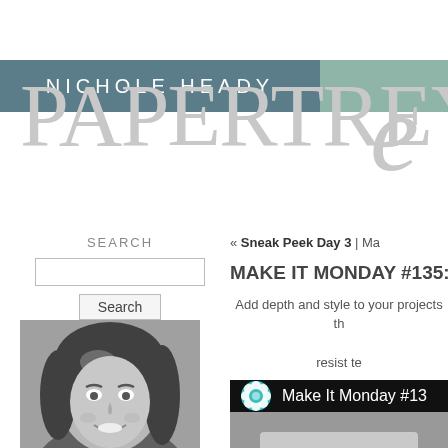NICHOLE HEADY
PAPERTREY
SEARCH
Search
[Figure (photo): Black and white profile photo of a smiling woman with wavy hair]
« Sneak Peek Day 3 | Ma
MAKE IT MONDAY #135: L
Add depth and style to your projects th
resist te
[Figure (screenshot): Video thumbnail showing Make It Monday #13 with teal flower icon on dark background and a hand holding a tablet]